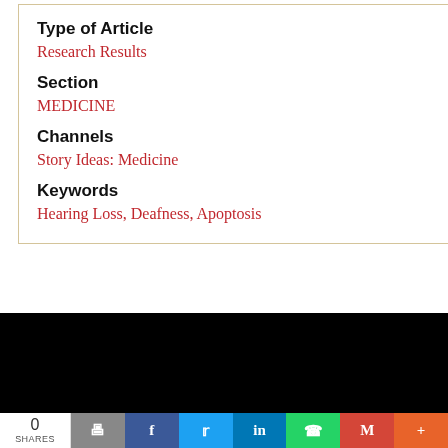Type of Article
Research Results
Section
MEDICINE
Channels
Story Ideas: Medicine
Keywords
Hearing Loss, Deafness, Apoptosis
View All Latest News
[Figure (logo): Newswise logo in white text on black background with red circle around 'wise']
0 SHARES | print | facebook | twitter | linkedin | whatsapp | gmail | more